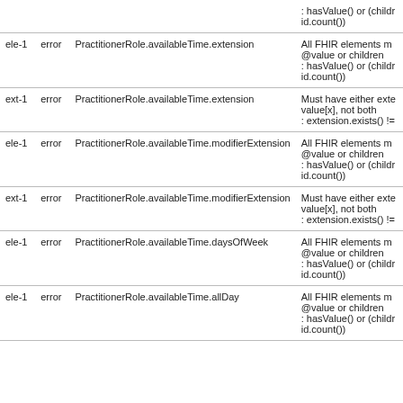|  |  | Path | Description |
| --- | --- | --- | --- |
|  |  |  | : hasValue() or (children().count() > id.count()) |
| ele-1 | error | PractitionerRole.availableTime.extension | All FHIR elements m... @value or children : hasValue() or (children().count() > id.count()) |
| ext-1 | error | PractitionerRole.availableTime.extension | Must have either extension or value[x], not both : extension.exists() !=... |
| ele-1 | error | PractitionerRole.availableTime.modifierExtension | All FHIR elements m... @value or children : hasValue() or (children().count() > id.count()) |
| ext-1 | error | PractitionerRole.availableTime.modifierExtension | Must have either extension or value[x], not both : extension.exists() !=... |
| ele-1 | error | PractitionerRole.availableTime.daysOfWeek | All FHIR elements m... @value or children : hasValue() or (children().count() > id.count()) |
| ele-1 | error | PractitionerRole.availableTime.allDay | All FHIR elements m... @value or children : hasValue() or (children().count() > id.count()) |